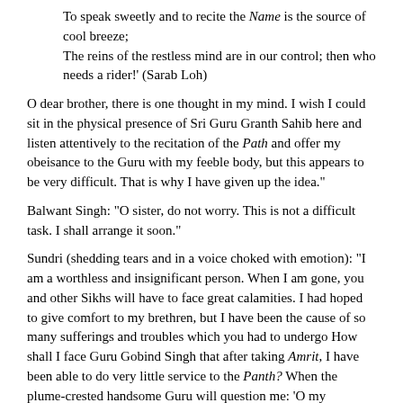To speak sweetly and to recite the Name is the source of cool breeze;
The reins of the restless mind are in our control; then who needs a rider!' (Sarab Loh)
O dear brother, there is one thought in my mind. I wish I could sit in the physical presence of Sri Guru Granth Sahib here and listen attentively to the recitation of the Path and offer my obeisance to the Guru with my feeble body, but this appears to be very difficult. That is why I have given up the idea."
Balwant Singh: "O sister, do not worry. This is not a difficult task. I shall arrange it soon."
Sundri (shedding tears and in a voice choked with emotion): "I am a worthless and insignificant person. When I am gone, you and other Sikhs will have to face great calamities. I had hoped to give comfort to my brethren, but I have been the cause of so many sufferings and troubles which you had to undergo How shall I face Guru Gobind Singh that after taking Amrit, I have been able to do very little service to the Panth? When the plume-crested handsome Guru will question me: 'O my daughter, what good have you done' at that time what answer shall my embarrassed mind give? I shall feel diffident and small in sitting in the lap of Mata Sahib Devan and she will call me her incompetent daughter".